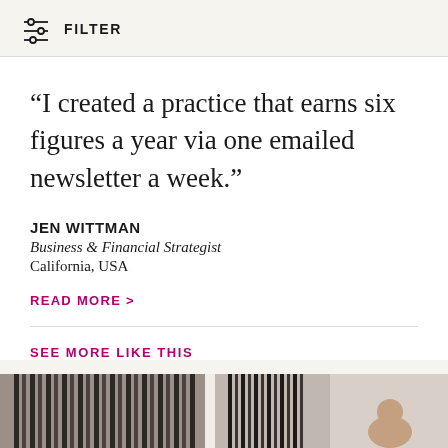FILTER
“I created a practice that earns six figures a year via one emailed newsletter a week.”
JEN WITTMAN
Business & Financial Strategist
California, USA
READ MORE >
SEE MORE LIKE THIS
[Figure (photo): Bottom strip showing curtain/interior photo thumbnails]